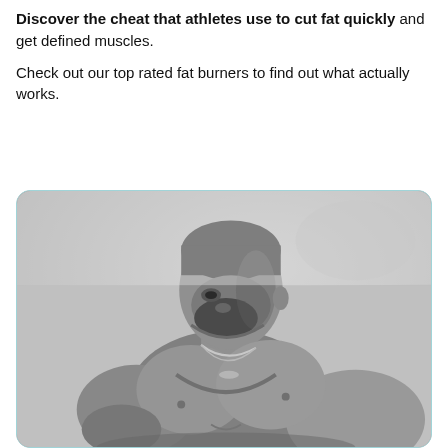Discover the cheat that athletes use to cut fat quickly and get defined muscles.

Check out our top rated fat burners to find out what actually works.
[Figure (photo): Black and white photo of a muscular shirtless man with a beard wearing a chain necklace, looking to the side, shown from the waist up against a light background.]